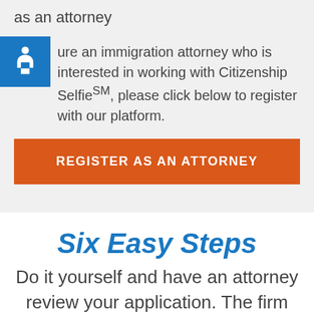as an attorney
If you're an immigration attorney who is interested in working with Citizenship SelfieSM, please click below to register with our platform.
REGISTER AS AN ATTORNEY
Six Easy Steps
Do it yourself and have an attorney review your application. The firm handles all citizenship